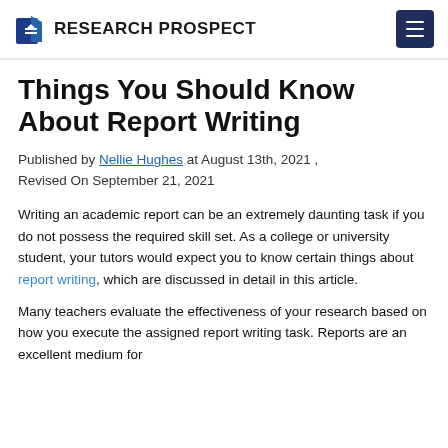Research Prospect
Things You Should Know About Report Writing
Published by Nellie Hughes at August 13th, 2021 , Revised On September 21, 2021
Writing an academic report can be an extremely daunting task if you do not possess the required skill set. As a college or university student, your tutors would expect you to know certain things about report writing, which are discussed in detail in this article.
Many teachers evaluate the effectiveness of your research based on how you execute the assigned report writing task. Reports are an excellent medium for